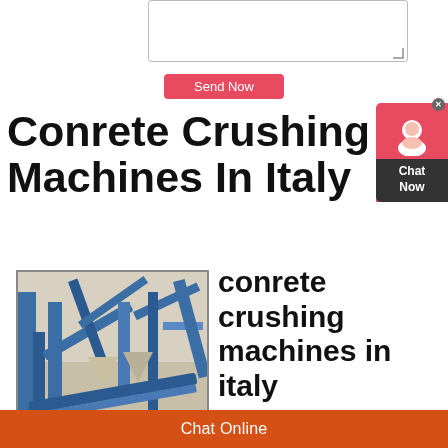[textarea input field]
Send Now
Conrete Crushing Machines In Italy
[Figure (photo): Industrial concrete crushing machine with blue metal framework and conveyor belts at an outdoor quarry or construction site.]
conrete crushing machines in italy
Crusher, Concrete For
Chat Online